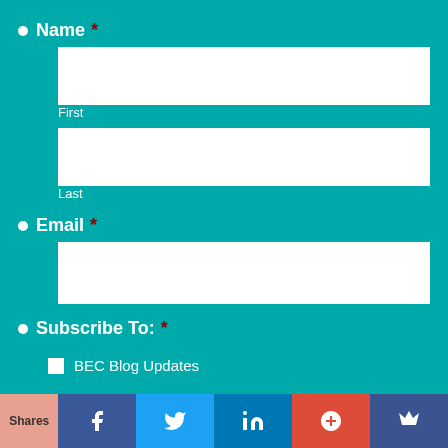Name *
First
Last
Email *
Subscribe To: *
BEC Blog Updates
BEC Monthly Email Newsletter
Shares | Facebook | Twitter | LinkedIn | Google+ | Crown